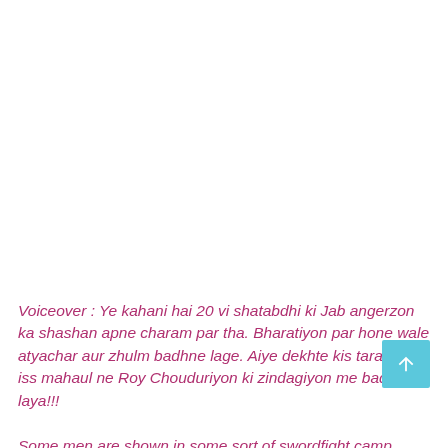Voiceover : Ye kahani hai 20 vi shatabdhi ki Jab angerzon ka shashan apne charam par tha. Bharatiyon par hone wale atyachar aur zhulm badhne lage. Aiye dekhte kis tarah se iss mahaul ne Roy Chouduriyon ki zindagiyon me badlaav laya!!!
Some men are shown in some sort of swordfight camp practising the art.